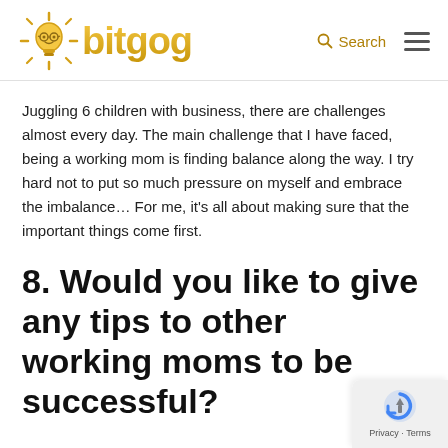bitgog | Search
Juggling 6 children with business, there are challenges almost every day. The main challenge that I have faced, being a working mom is finding balance along the way. I try hard not to put so much pressure on myself and embrace the imbalance… For me, it's all about making sure that the important things come first.
8. Would you like to give any tips to other working moms to be successful?